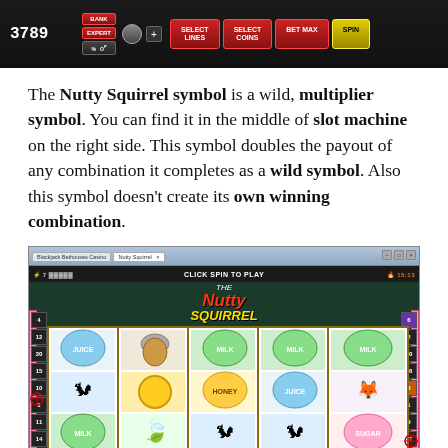[Figure (screenshot): Slot machine game interface top bar showing bank number 3789, EXPERT, BANK controls, and buttons: SELECT LINES, SELECT COINS, BET MAX, SPIN]
The Nutty Squirrel symbol is a wild, multiplier symbol. You can find it in the middle of slot machine on the right side. This symbol doubles the payout of any combination it completes as a wild symbol. Also this symbol doesn't create its own winning combination.
[Figure (screenshot): Nutty Squirrel slot machine game screenshot in browser window showing 5-reel slot with symbols including JUICE, MILK, HONEY, acorn, and character symbols. Game title shown at top. Click SPIN TO PLAY message shown in toolbar.]